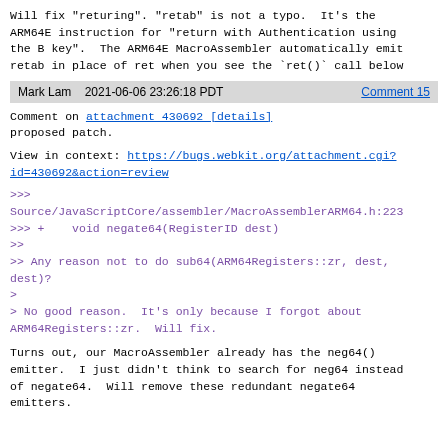Will fix "returing". "retab" is not a typo. It's the ARM64E instruction for "return with Authentication using the B key". The ARM64E MacroAssembler automatically emits retab in place of ret when you see the `ret()` call below
Mark Lam   2021-06-06 23:26:18 PDT   Comment 15
Comment on attachment 430692 [details] proposed patch.
View in context: https://bugs.webkit.org/attachment.cgi?id=430692&action=review
>>>
Source/JavaScriptCore/assembler/MacroAssemblerARM64.h:223
>>> +    void negate64(RegisterID dest)
>>
>> Any reason not to do sub64(ARM64Registers::zr, dest, dest)?
>
> No good reason. It's only because I forgot about ARM64Registers::zr. Will fix.
Turns out, our MacroAssembler already has the neg64() emitter. I just didn't think to search for neg64 instead of negate64. Will remove these redundant negate64 emitters.